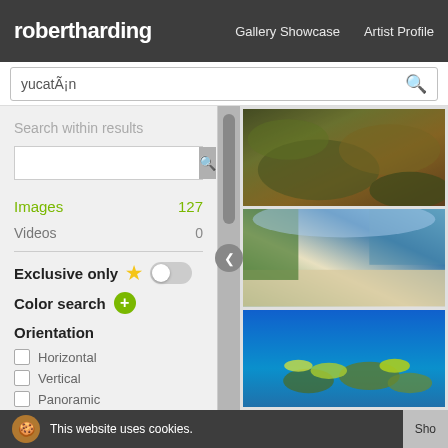robertharding   Gallery Showcase   Artist Profile
yucatÃ¡n
Search within results
Images 127
Videos 0
Exclusive only
Color search
Orientation
Horizontal
Vertical
Panoramic
[Figure (photo): Close-up photo of tropical plants/seaweed, dark green and brown tones]
[Figure (photo): Beach scene with palm trees, white sand, people, blue sky with clouds, Yucatan Mexico]
[Figure (photo): Underwater photo with bright blue water, tropical fish and coral reef]
This website uses cookies.   Sho